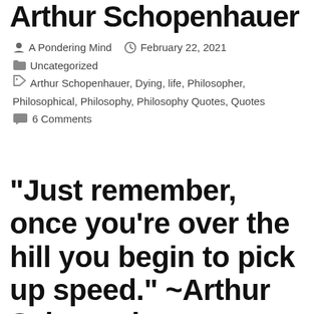Arthur Schopenhauer
By A Pondering Mind  February 22, 2021
Uncategorized
Arthur Schopenhauer, Dying, life, Philosopher, Philosophical, Philosophy, Philosophy Quotes, Quotes
6 Comments
“Just remember, once you’re over the hill you begin to pick up speed.” ~Arthur Schopenhauer